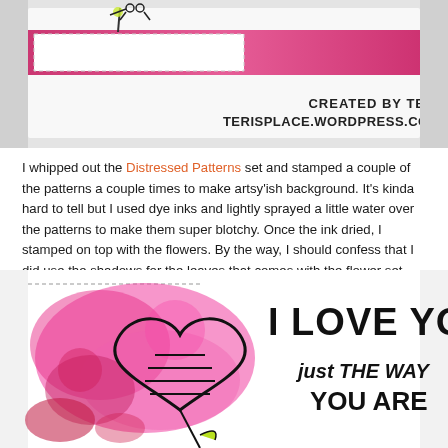[Figure (photo): Craft card photo showing a handmade card with pink/magenta strip, dashed white border, flower stamp, with watermark text 'CREATED BY TERI TERISPLACE.WORDPRESS.COM' in the bottom right]
I whipped out the Distressed Patterns set and stamped a couple of the patterns a couple times to make artsy'ish background. It's kinda hard to tell but I used dye inks and lightly sprayed a little water over the patterns to make them super blotchy. Once the ink dried, I stamped on top with the flowers. By the way, I should confess that I did use the shadows for the leaves that comes with the flower set. Felt like they just needed something.
[Figure (photo): Craft card photo showing a handmade card with pink watercolor splatter background, black outlined heart balloon, and bold handwritten text 'I LOVE YOU just THE WAY YOU ARE']